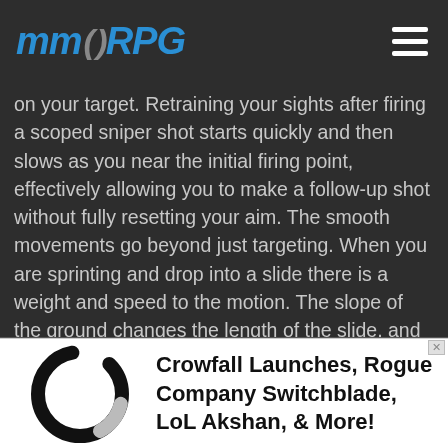MMORPG
on your target. Retraining your sights after firing a scoped sniper shot starts quickly and then slows as you near the initial firing point, effectively allowing you to make a follow-up shot without fully resetting your aim. The smooth movements go beyond just targeting. When you are sprinting and drop into a slide there is a weight and speed to the motion. The slope of the ground changes the length of the slide, and you even come out of the slide at a slow walking speed, making you reinitiate a sprint. The same type of effects are used in leaps and wall climbs.
[Figure (logo): Circular ring icon in black and grey, loading spinner style]
Crowfall Launches, Rogue Company Switchblade, LoL Akshan, & More!